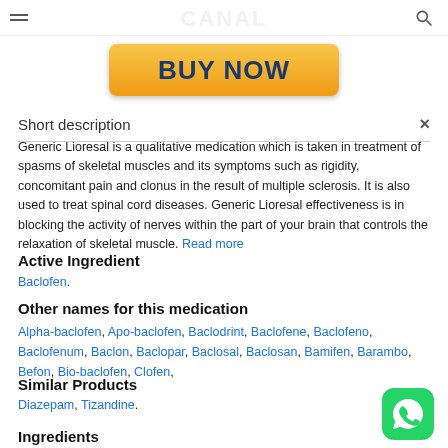[Figure (screenshot): Top navigation bar with hamburger menu, watermark logo, and search icon]
[Figure (illustration): Yellow gradient BUY NOW button with dark blue bold text]
Short description
Generic Lioresal is a qualitative medication which is taken in treatment of spasms of skeletal muscles and its symptoms such as rigidity, concomitant pain and clonus in the result of multiple sclerosis. It is also used to treat spinal cord diseases. Generic Lioresal effectiveness is in blocking the activity of nerves within the part of your brain that controls the relaxation of skeletal muscle. Read more
Active Ingredient
Baclofen.
Other names for this medication
Alpha-baclofen, Apo-baclofen, Baclodrint, Baclofene, Baclofeno, Baclofenum, Baclon, Baclopar, Baclosal, Baclosan, Bamifen, Barambo, Befon, Bio-baclofen, Clofen,
Similar Products
Diazepam, Tizandine.
Ingredients
[Figure (logo): WhatsApp green icon in bottom right corner]